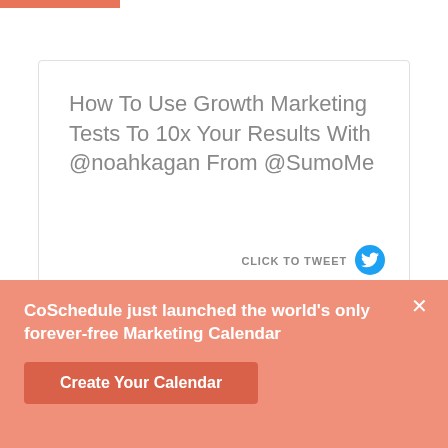How To Use Growth Marketing Tests To 10x Your Results With @noahkagan From @SumoMe
CLICK TO TWEET
CoSchedule just launched the world’s only forever-free Marketing Calendar
Create Your Calendar